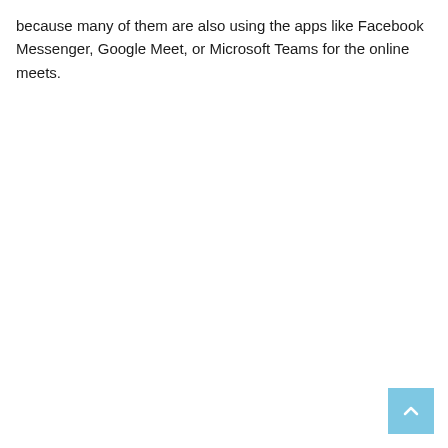because many of them are also using the apps like Facebook Messenger, Google Meet, or Microsoft Teams for the online meets.